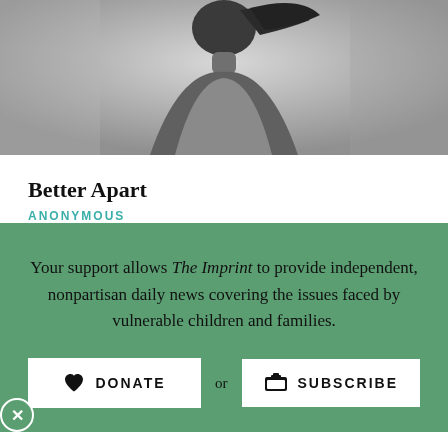[Figure (photo): Black and white photo of a person seen from behind with hair blowing in the wind]
Better Apart
ANONYMOUS
Your support allows The Imprint to provide independent, nonpartisan daily news covering the issues faced by vulnerable children and families.
DONATE or SUBSCRIBE